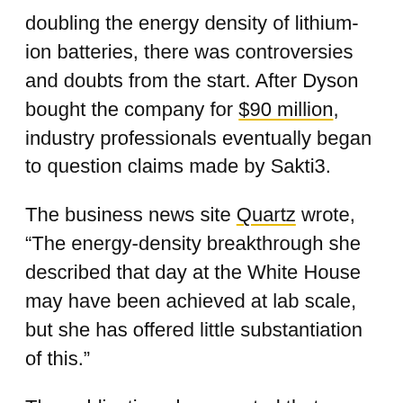doubling the energy density of lithium-ion batteries, there was controversies and doubts from the start. After Dyson bought the company for $90 million, industry professionals eventually began to question claims made by Sakti3.
The business news site Quartz wrote, “The energy-density breakthrough she described that day at the White House may have been achieved at lab scale, but she has offered little substantiation of this.”
The publication also reported that Sastry’s promises were met with skepticism from experts after a battery cell tested for the U.S. Department of Energy failed to replicate the success she claimed to have achieved.
Quartz went so far as to say, “In an industry riven with exaggeration and outright lying, Sastry’s resistance to sharing even seemingly innocuous performance data – including with her own employees – has prompted suspicion that she is